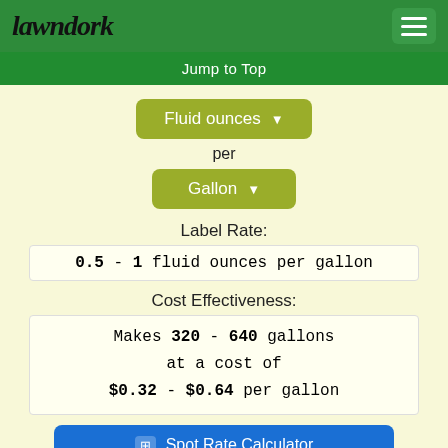lawndork
Jump to Top
Fluid ounces
per
Gallon
Label Rate:
0.5 - 1 fluid ounces per gallon
Cost Effectiveness:
Makes 320 - 640 gallons at a cost of $0.32 - $0.64 per gallon
Spot Rate Calculator
How do I do a spot treatment?